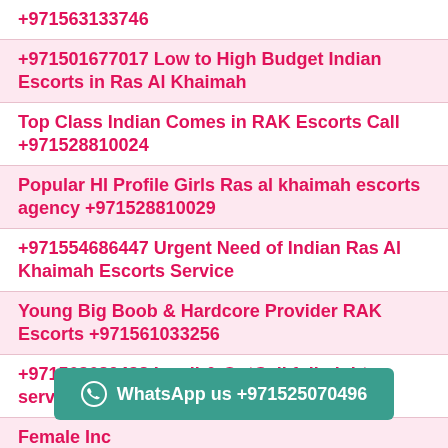+971563133746
+971501677017 Low to High Budget Indian Escorts in Ras Al Khaimah
Top Class Indian Comes in RAK Escorts Call +971528810024
Popular HI Profile Girls Ras al khaimah escorts agency +971528810029
+971554686447 Urgent Need of Indian Ras Al Khaimah Escorts Service
Young Big Boob & Hardcore Provider RAK Escorts +971561033256
+971563680438 Incall & OutCall full night service escorts in ras al khaimah
Female Inc... Escorts Provider +971528755270
WhatsApp us +971525070496